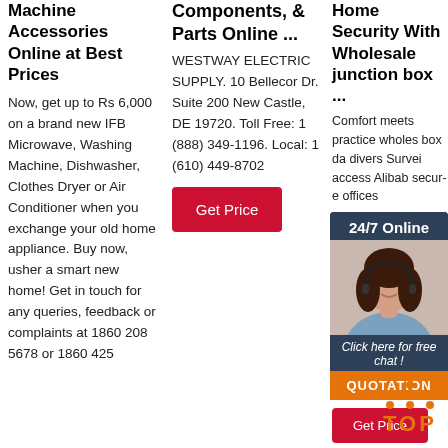Machine Accessories Online at Best Prices
Now, get up to Rs 6,000 on a brand new IFB Microwave, Washing Machine, Dishwasher, Clothes Dryer or Air Conditioner when you exchange your old home appliance. Buy now, usher a smart new home! Get in touch for any queries, feedback or complaints at 1860 208 5678 or 1860 425
Components, & Parts Online ...
WESTWAY ELECTRIC SUPPLY. 10 Bellecor Dr. Suite 200 New Castle, DE 19720. Toll Free: 1 (888) 349-1196. Local: 1 (610) 449-8702
[Figure (other): Red 'Get Price' button]
Home Security With Wholesale junction box ...
Comfort meets practice wholesale box da diversity Survei access Alibab secure offices
[Figure (photo): 24/7 Online chat widget with woman wearing headset, 'Click here for free chat!' text, and orange QUOTATION button]
[Figure (other): Red 'Get Price' button for Home Security column]
[Figure (logo): Orange TOP badge with dots above]